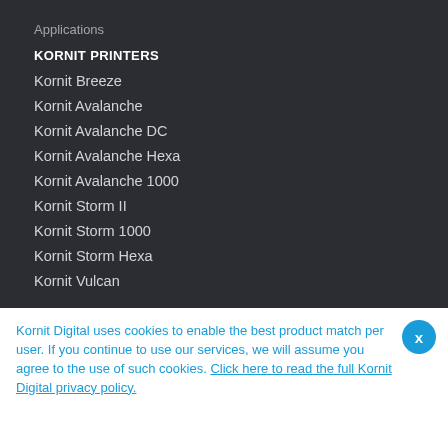Applications
KORNIT PRINTERS
Kornit Breeze
Kornit Avalanche
Kornit Avalanche DC
Kornit Avalanche Hexa
Kornit Avalanche 1000
Kornit Storm II
Kornit Storm 1000
Kornit Storm Hexa
Kornit Vulcan
Kornit Digital uses cookies to enable the best product match per user. If you continue to use our services, we will assume you agree to the use of such cookies. Click here to read the full Kornit Digital privacy policy.